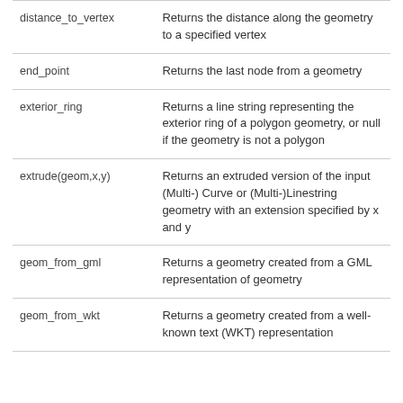| Function | Description |
| --- | --- |
| distance_to_vertex | Returns the distance along the geometry to a specified vertex |
| end_point | Returns the last node from a geometry |
| exterior_ring | Returns a line string representing the exterior ring of a polygon geometry, or null if the geometry is not a polygon |
| extrude(geom,x,y) | Returns an extruded version of the input (Multi-) Curve or (Multi-)Linestring geometry with an extension specified by x and y |
| geom_from_gml | Returns a geometry created from a GML representation of geometry |
| geom_from_wkt | Returns a geometry created from a well-known text (WKT) representation |